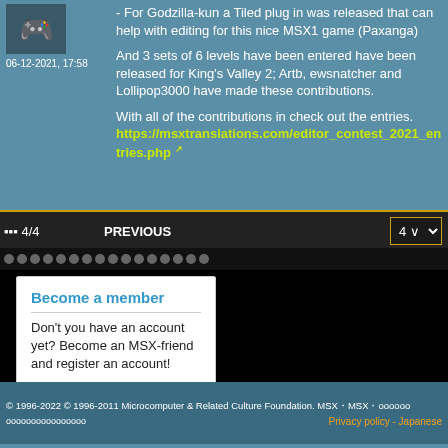06-12-2021, 17:58
- For Godzilla-kun a Tiled plug in was released that can help with editing for this nice MSX1 game (Paxanga)

And 3 sets of 6 levels have been entered have been released for King's Valley 2; Artb, ewsnatcher and Lollipop3000 have made these contributions.

With all of the contributions in check out the entries.
https://msxtranslations.com/editor_contest_2021_entries.php
oooo 4/4   PREVIOUS   4 ∨
ooooooooooooooooo
Become a member
Don't you have an account yet? Become an MSX-friend and register an account!
Register now
© 1996-2022 © 1996-2011 Microcomputer & Related Culture Foundation. MSX・MSX・oooooo
oooooooooooooooo   Privacy policy - Japanese